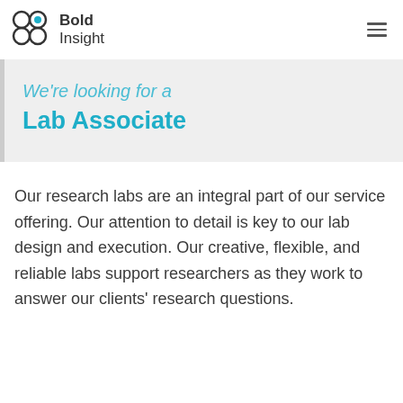Bold Insight
We're looking for a Lab Associate
Our research labs are an integral part of our service offering. Our attention to detail is key to our lab design and execution. Our creative, flexible, and reliable labs support researchers as they work to answer our clients' research questions.